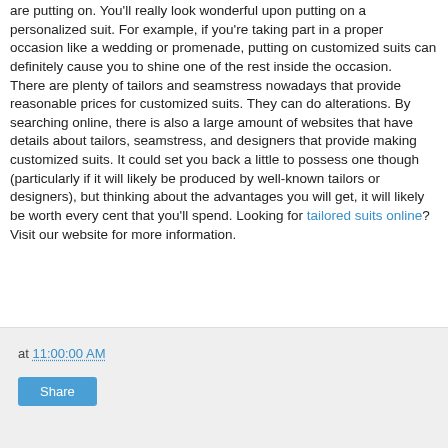are putting on. You'll really look wonderful upon putting on a personalized suit. For example, if you're taking part in a proper occasion like a wedding or promenade, putting on customized suits can definitely cause you to shine one of the rest inside the occasion. There are plenty of tailors and seamstress nowadays that provide reasonable prices for customized suits. They can do alterations. By searching online, there is also a large amount of websites that have details about tailors, seamstress, and designers that provide making customized suits. It could set you back a little to possess one though (particularly if it will likely be produced by well-known tailors or designers), but thinking about the advantages you will get, it will likely be worth every cent that you'll spend. Looking for tailored suits online? Visit our website for more information.
at 11:00:00 AM
Share